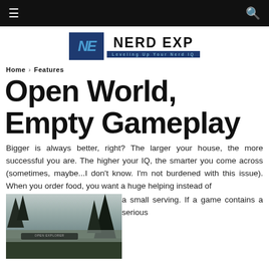≡  [search icon]
[Figure (logo): Nerd Exp logo — NE icon in dark blue box, 'NERD EXP' bold text, tagline 'Leveling Up Your Nerd IQ']
Home › Features
Open World, Empty Gameplay
Bigger is always better, right? The larger your house, the more successful you are. The higher your IQ, the smarter you come across (sometimes, maybe...I don't know. I'm not burdened with this issue). When you order food, you want a huge helping instead of a small serving. If a game contains a serious
[Figure (screenshot): In-game screenshot showing a misty open-world forest scene with dark pine trees and a game UI bar overlay]